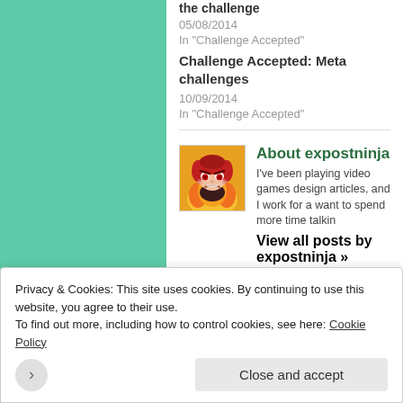05/08/2014
In "Challenge Accepted"
Challenge Accepted: Meta challenges
10/09/2014
In "Challenge Accepted"
[Figure (illustration): Cartoon avatar of a character with red hair and red eyes, angry expression, on a yellow/fire background]
About expostninja
I've been playing video games design articles, and I work for a want to spend more time talkin
View all posts by expostninja »
Privacy & Cookies: This site uses cookies. By continuing to use this website, you agree to their use.
To find out more, including how to control cookies, see here: Cookie Policy
Close and accept